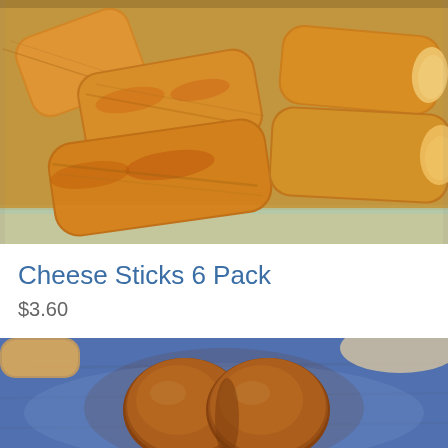[Figure (photo): Close-up photo of golden-brown baked cheese sticks (crescent roll style) piled in a tray, showing flaky pastry texture with cheese baked on top]
Cheese Sticks 6 Pack
$3.60
[Figure (photo): Photo of two round golden-brown dinner rolls placed on a blue cloth/napkin, with some bread visible in the background]